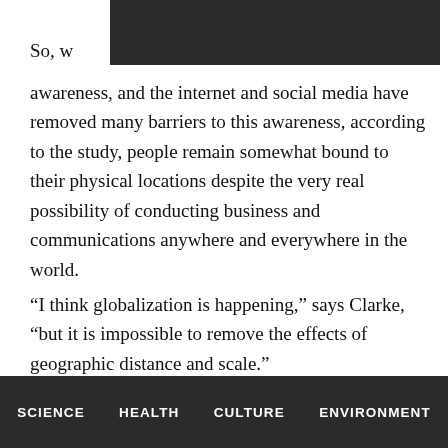So, w[redacted] awareness, and the internet and social media have removed many barriers to this awareness, according to the study, people remain somewhat bound to their physical locations despite the very real possibility of conducting business and communications anywhere and everywhere in the world.
“I think globalization is happening,” says Clarke, “but it is impossible to remove the effects of geographic distance and scale.”
Source: UC Santa Barbara
Original Study    DOI:
SCIENCE    HEALTH    CULTURE    ENVIRONMENT